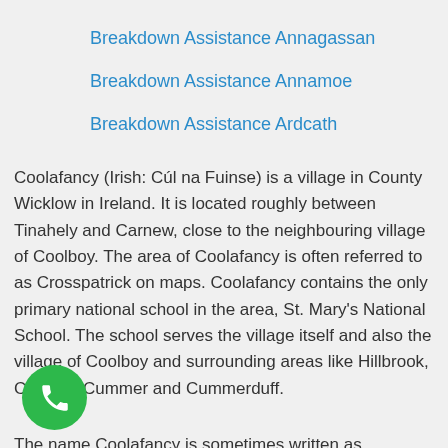Breakdown Assistance Annagassan
Breakdown Assistance Annamoe
Breakdown Assistance Ardcath
Coolafancy (Irish: Cúl na Fuinse) is a village in County Wicklow in Ireland. It is located roughly between Tinahely and Carnew, close to the neighbouring village of Coolboy. The area of Coolafancy is often referred to as Crosspatrick on maps. Coolafancy contains the only primary national school in the area, St. Mary's National School. The school serves the village itself and also the village of Coolboy and surrounding areas like Hillbrook, Coolroe, Cummer and Cummerduff.
The name Coolafancy is sometimes written as Coolnafancy or simply Co…